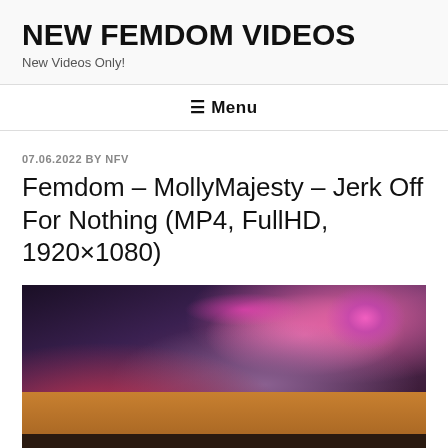NEW FEMDOM VIDEOS
New Videos Only!
☰ Menu
07.06.2022 BY NFV
Femdom – MollyMajesty – Jerk Off For Nothing (MP4, FullHD, 1920×1080)
[Figure (photo): A woman with red lingerie on a yellow couch with purple/pink background lighting]